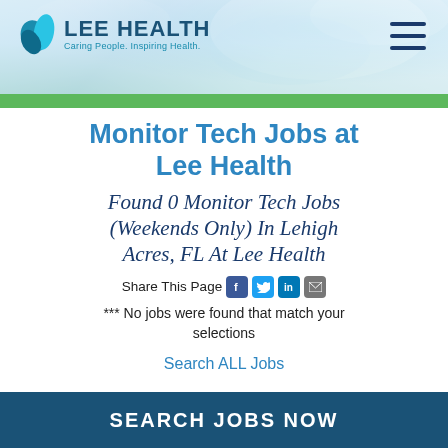[Figure (screenshot): Lee Health website header with logo and navigation hamburger menu on a blue/green gradient background with photo overlay and green bar at bottom]
Monitor Tech Jobs at Lee Health
Found 0 Monitor Tech Jobs (Weekends Only) In Lehigh Acres, FL At Lee Health
Share This Page
*** No jobs were found that match your selections
Search ALL Jobs
SEARCH JOBS NOW